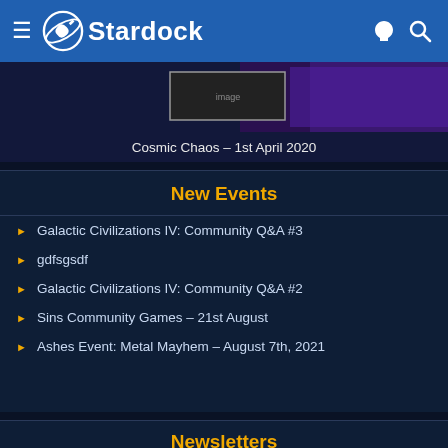Stardock
Cosmic Chaos – 1st April 2020
New Events
Galactic Civilizations IV: Community Q&A #3
gdfsgsdf
Galactic Civilizations IV: Community Q&A #2
Sins Community Games – 21st August
Ashes Event: Metal Mayhem – August 7th, 2021
Newsletters
Sign up to receive Stardock's latest news, release information and special offers.
SUBSCRIBE NOW!